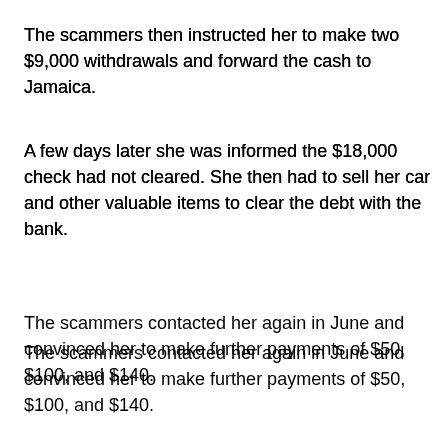The scammers then instructed her to make two $9,000 withdrawals and forward the cash to Jamaica.
A few days later she was informed the $18,000 check had not cleared. She then had to sell her car and other valuable items to clear the debt with the bank.
The scammers contacted her again in June and convinced her to make further payments of $50, $100, and $140.
Steve Calvert at 10:30 PM
Share
Illinois Lotto Winners Plan State-Wide Tour
A retired couple from Tiskilwa, Illinois, claimed a Mammoth